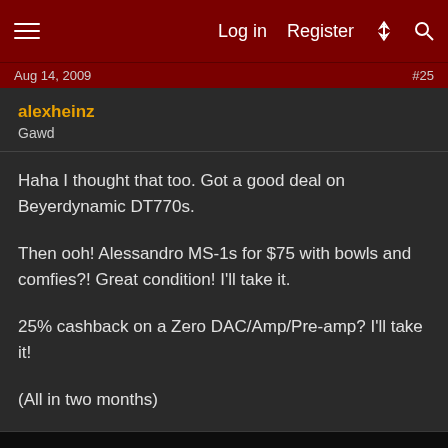Log in  Register
Aug 14, 2009  #25
alexheinz
Gawd
Haha I thought that too. Got a good deal on Beyerdynamic DT770s.

Then ooh! Alessandro MS-1s for $75 with bowls and comfies?! Great condition! I'll take it.

25% cashback on a Zero DAC/Amp/Pre-amp? I'll take it!

(All in two months)
You must log in or register to reply here.
Share: